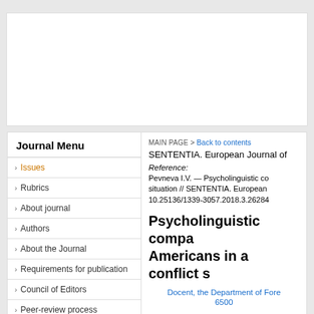Journal Menu
> Issues
> Rubrics
> About journal
> Authors
> About the Journal
> Requirements for publication
> Council of Editors
> Peer-review process
> Article retraction
MAIN PAGE > Back to contents
SENTENTIA. European Journal of
Reference:
Pevneva I.V. — Psycholinguistic co situation // SENTENTIA. European 10.25136/1339-3057.2018.3.26284
Psycholinguistic compa Americans in a conflict s
Docent, the Department of Fore
6500